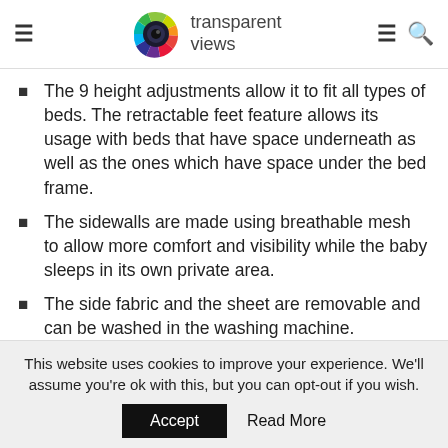transparent views
The 9 height adjustments allow it to fit all types of beds. The retractable feet feature allows its usage with beds that have space underneath as well as the ones which have space under the bed frame.
The sidewalls are made using breathable mesh to allow more comfort and visibility while the baby sleeps in its own private area.
The side fabric and the sheet are removable and can be washed in the washing machine.
The setting up of this bassinet is pretty simple. For
This website uses cookies to improve your experience. We'll assume you're ok with this, but you can opt-out if you wish. Accept Read More